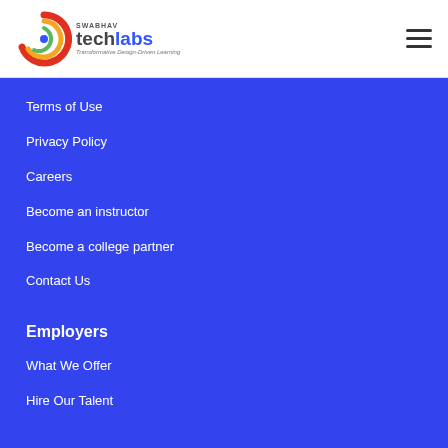[Figure (logo): Swabhav Techlabs logo with spiral graphic, 'SWABHAV' in small caps above 'techlabs' in large text, tagline 'Transformative Design-Driven Learning']
Terms of Use
Privacy Policy
Careers
Become an instructor
Become a college partner
Contact Us
Employers
What We Offer
Hire Our Talent